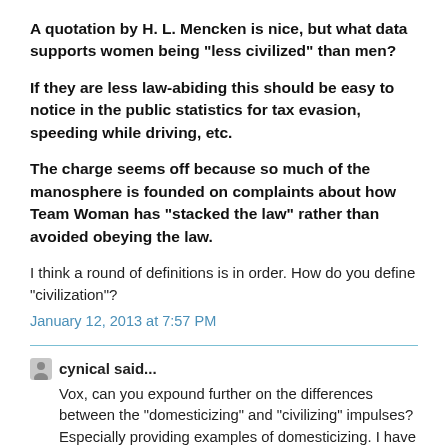A quotation by H. L. Mencken is nice, but what data supports women being "less civilized" than men?
If they are less law-abiding this should be easy to notice in the public statistics for tax evasion, speeding while driving, etc.
The charge seems off because so much of the manosphere is founded on complaints about how Team Woman has "stacked the law" rather than avoided obeying the law.
I think a round of definitions is in order. How do you define "civilization"?
January 12, 2013 at 7:57 PM
cynical said...
Vox, can you expound further on the differences between the "domesticizing" and "civilizing" impulses? Especially providing examples of domesticizing. I have somewhat of a